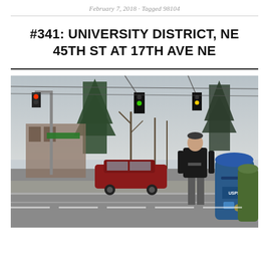February 7, 2018 · Tagged 98104
#341: UNIVERSITY DISTRICT, NE 45TH ST AT 17TH AVE NE
[Figure (photo): A man standing on a street corner at NE 45th St and 17th Ave NE in the University District, Seattle. He is wearing a dark hoodie and grey pants, standing next to a blue USPS mailbox. There are traffic lights visible, large evergreen trees in the background, and a red car passing. The sky is overcast.]